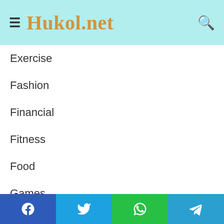Hukol.net
Exercise
Fashion
Financial
Fitness
Food
Games
Health
Home Improvement
Law
Lifestyle
News
Facebook | Twitter | WhatsApp | Telegram